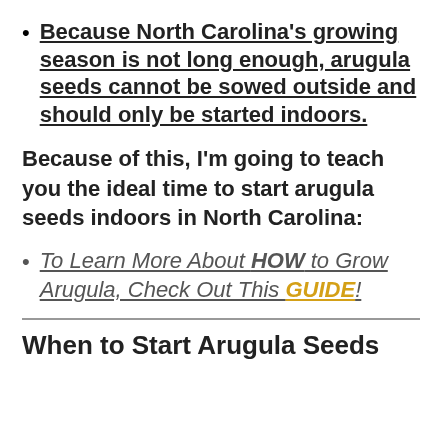Because North Carolina's growing season is not long enough, arugula seeds cannot be sowed outside and should only be started indoors.
Because of this, I'm going to teach you the ideal time to start arugula seeds indoors in North Carolina:
To Learn More About HOW to Grow Arugula, Check Out This GUIDE!
When to Start Arugula Seeds